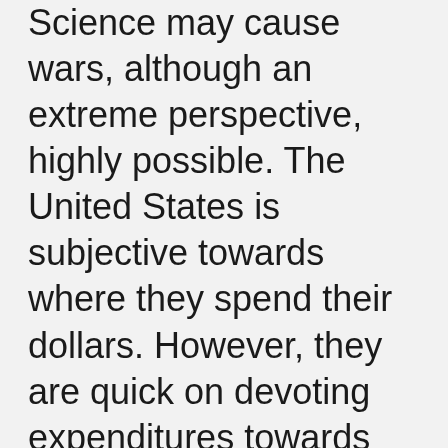Science may cause wars, although an extreme perspective, highly possible. The United States is subjective towards where they spend their dollars. However, they are quick on devoting expenditures towards high technology for the purpose of “national security”. But genuinely speaking, is spending money on technological inventions helpful or harmful?